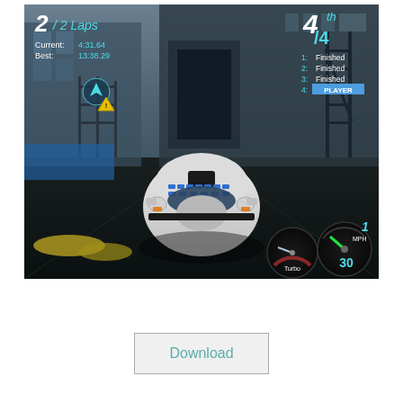[Figure (screenshot): Racing video game screenshot showing a white sports car with blue decals viewed from behind, driving through an industrial environment. HUD displays: 2/2 Laps (top left), Current: 4:31.64, Best: 13:38.29, position 4th/4 (top right), standings showing 1: Finished, 2: Finished, 3: Finished, 4: PLAYER (highlighted in blue). Speedometer shows 30 MPH with turbo gauge at bottom right.]
[Figure (other): Download button — a rectangular button with light gray background and teal/cyan text reading 'Download', with a thin gray border.]